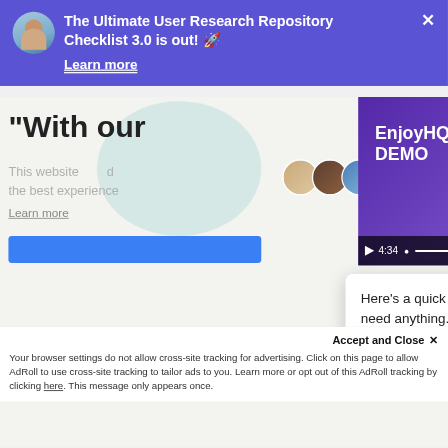[Figure (screenshot): Notification banner with purple background showing 'The Ultimate User Research Repository Checklist 3.0 is out! 🚀' with avatar and Learn more link, overlaid on a website with a video demo popup and chat widget. Bottom shows AdRoll cookie consent bar.]
The Ultimate User Research Repository Checklist 3.0 is out! 🚀
Learn more
EnjoyHQ DEMO
4:34
"With our
This website
the best experience
Learn more
Here's a quick demo👆Let us know if you have any questions. We'll be here if you need anything.
Reply to EnjoyHQ...
Accept and Close ✕
Your browser settings do not allow cross-site tracking for advertising. Click on this page to allow AdRoll to use cross-site tracking to tailor ads to you. Learn more or opt out of this AdRoll tracking by clicking here. This message only appears once.